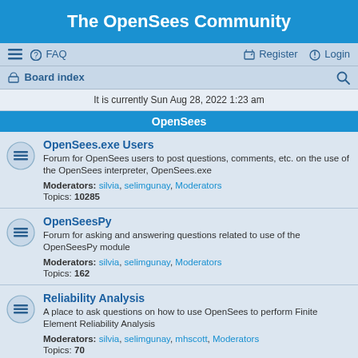The OpenSees Community
≡  FAQ    Register  Login
Board index
It is currently Sun Aug 28, 2022 1:23 am
OpenSees
OpenSees.exe Users
Forum for OpenSees users to post questions, comments, etc. on the use of the OpenSees interpreter, OpenSees.exe
Moderators: silvia, selimgunay, Moderators
Topics: 10285
OpenSeesPy
Forum for asking and answering questions related to use of the OpenSeesPy module
Moderators: silvia, selimgunay, Moderators
Topics: 162
Reliability Analysis
A place to ask questions on how to use OpenSees to perform Finite Element Reliability Analysis
Moderators: silvia, selimgunay, mhscott, Moderators
Topics: 70
Framework
For developers writing C++, Fortran, Java, code who have questions or comments to make.
Moderators: silvia, selimgunay, Moderators